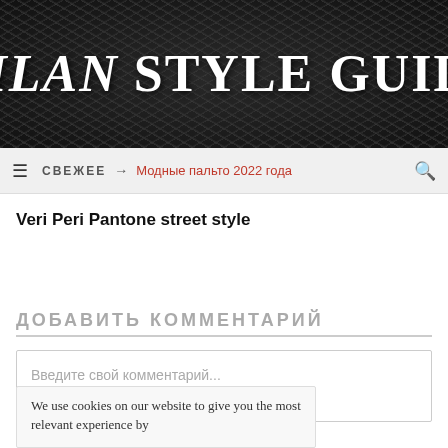MILAN STYLE GUIDE
СВЕЖЕЕ → Модные пальто 2022 года
Veri Peri Pantone street style
ДОБАВИТЬ КОММЕНТАРИЙ
Введите свой комментарий...
We use cookies on our website to give you the most relevant experience by